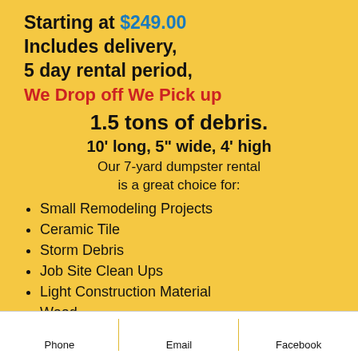Starting at $249.00
Includes delivery, 5 day rental period,
We Drop off We Pick up
1.5 tons of debris.
10' long, 5" wide, 4' high
Our 7-yard dumpster rental is a great choice for:
Small Remodeling Projects
Ceramic Tile
Storm Debris
Job Site Clean Ups
Light Construction Material
Wood
Junk Removal
Rent A Junk Bus
Phone | Email | Facebook